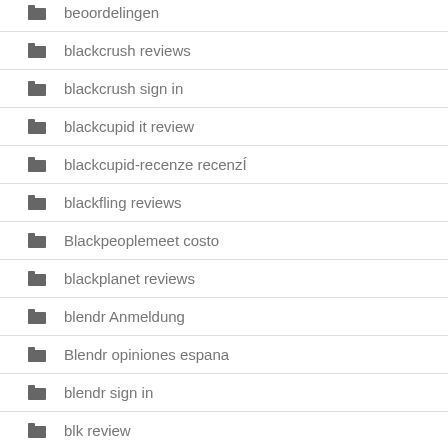beoordelingen
blackcrush reviews
blackcrush sign in
blackcupid it review
blackcupid-recenze recenzÍ
blackfling reviews
Blackpeoplemeet costo
blackplanet reviews
blendr Anmeldung
Blendr opiniones espana
blendr sign in
blk review